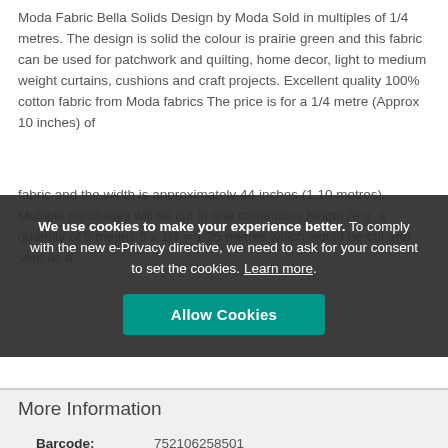Moda Fabric Bella Solids Design by Moda Sold in multiples of 1/4 metres. The design is solid the colour is prairie green and this fabric can be used for patchwork and quilting, home decor, light to medium weight curtains, cushions and craft projects. Excellent quality 100% cotton fabric from Moda fabrics The price is for a 1/4 metre (Approx 10 inches) of fabric and the width is approximately 44 inches (1.10 metres). Multiple purchases will be cut in one continuous length (e.g. a quantity of 5 means 5 x 1/4 = 1.25 metres which would be cut and sent as a...
We use cookies to make your experience better. To comply with the new e-Privacy directive, we need to ask for your consent to set the cookies. Learn more.  [Allow Cookies button]
More Information
| Field | Value |
| --- | --- |
| Barcode: | 752106258501 |
| Supplier Code: | 9900 102 |
| Brand: | Moda |
| Cut Type: | Cut To Length |
| Material Type: | Cotton |